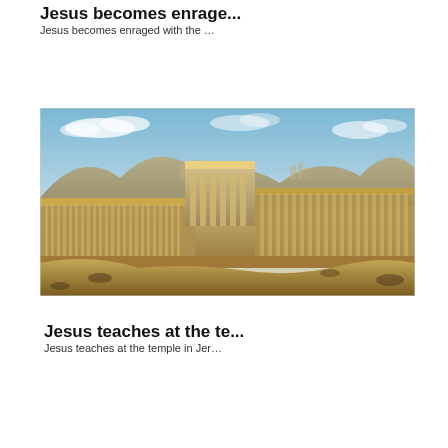Jesus becomes enrage...
Jesus becomes enraged with the ...
[Figure (illustration): 3D rendering or digital illustration of the ancient Jerusalem Temple complex, showing grand colonnaded buildings and walls, with mountains and a city in the background under a blue sky.]
Jesus teaches at the te...
Jesus teaches at the temple in Jer...